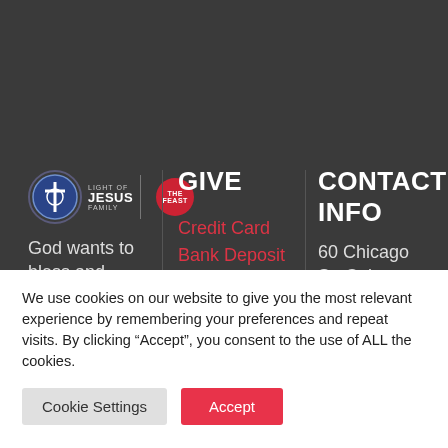[Figure (logo): Light of Jesus Family logo with cross emblem and The Feast red circle logo]
God wants to bless and love
GIVE
Credit Card
Bank Deposit
Online
CONTACT INFO
60 Chicago St. Cubao,
We use cookies on our website to give you the most relevant experience by remembering your preferences and repeat visits. By clicking “Accept”, you consent to the use of ALL the cookies.
Cookie Settings
Accept